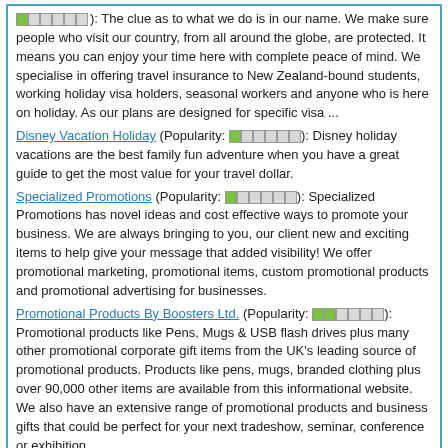): The clue as to what we do is in our name. We make sure people who visit our country, from all around the globe, are protected. It means you can enjoy your time here with complete peace of mind. We specialise in offering travel insurance to New Zealand-bound students, working holiday visa holders, seasonal workers and anyone who is here on holiday. As our plans are designed for specific visa ...
Disney Vacation Holiday (Popularity: ): Disney holiday vacations are the best family fun adventure when you have a great guide to get the most value for your travel dollar.
Specialized Promotions (Popularity: ): Specialized Promotions has novel ideas and cost effective ways to promote your business. We are always bringing to you, our client new and exciting items to help give your message that added visibility! We offer promotional marketing, promotional items, custom promotional products and promotional advertising for businesses.
Promotional Products By Boosters Ltd. (Popularity: ): Promotional products like Pens, Mugs & USB flash drives plus many other promotional corporate gift items from the UK's leading source of promotional products. Products like pens, mugs, branded clothing plus over 90,000 other items are available from this informational website. We also have an extensive range of promotional products and business gifts that could be perfect for your next tradeshow, seminar, conference or exhibition.
Categories
Arts & Culture
Automotive
Business
Career